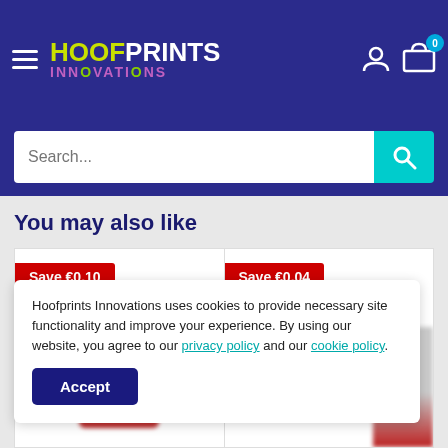HOOFPRINTS INNOVATIONS
Search...
You may also like
[Figure (other): Product card with Save €0,10 badge and blurred product image (cylinder/bottle with red bottom)]
[Figure (other): Product card with Save €0,04 badge and partially visible blurred product image]
Hoofprints Innovations uses cookies to provide necessary site functionality and improve your experience. By using our website, you agree to our privacy policy and our cookie policy.